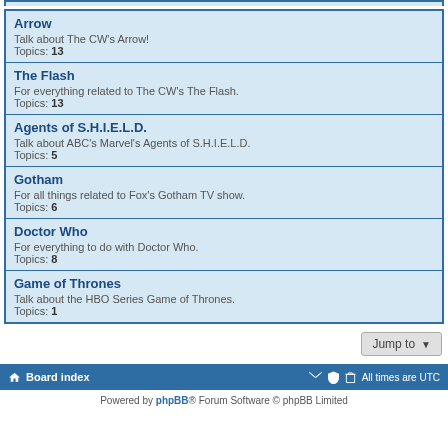Arrow
Talk about The CW's Arrow!
Topics: 13
The Flash
For everything related to The CW's The Flash.
Topics: 13
Agents of S.H.I.E.L.D.
Talk about ABC's Marvel's Agents of S.H.I.E.L.D.
Topics: 5
Gotham
For all things related to Fox's Gotham TV show.
Topics: 6
Doctor Who
For everything to do with Doctor Who.
Topics: 8
Game of Thrones
Talk about the HBO Series Game of Thrones.
Topics: 1
Board index | All times are UTC
Powered by phpBB® Forum Software © phpBB Limited